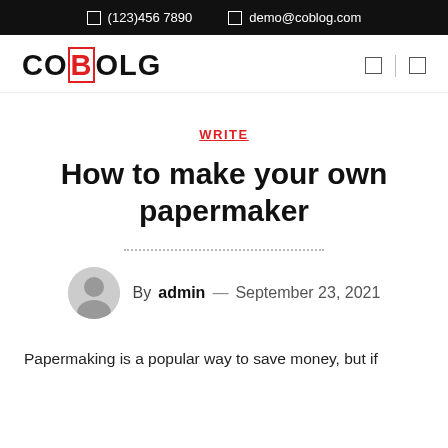☎ (123)456 7890   ✉ demo@coblog.com
[Figure (logo): COBOLG logo with CO in black, B highlighted in red outline box, OLG in black, large bold sans-serif]
WRITE
How to make your own papermaker
By admin — September 23, 2021
Papermaking is a popular way to save money, but if